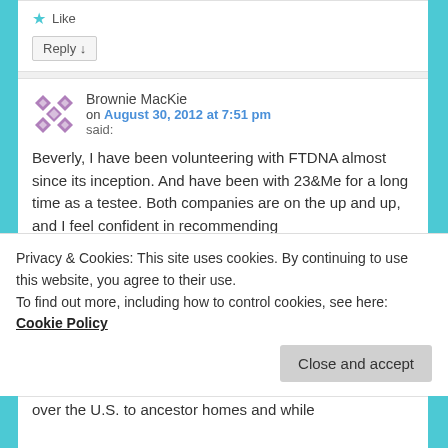Like
Reply ↓
Brownie MacKie on August 30, 2012 at 7:51 pm said:
Beverly, I have been volunteering with FTDNA almost since its inception. And have been with 23&Me for a long time as a testee. Both companies are on the up and up, and I feel confident in recommending
Privacy & Cookies: This site uses cookies. By continuing to use this website, you agree to their use.
To find out more, including how to control cookies, see here: Cookie Policy
Close and accept
over the U.S. to ancestor homes and while